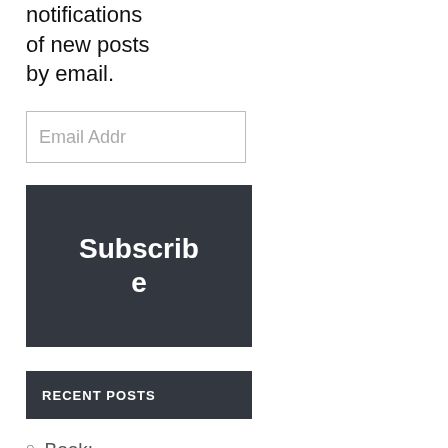notifications of new posts by email.
[Figure (screenshot): Email address input field with placeholder text 'Email Addr']
[Figure (screenshot): Dark button labeled 'Subscribe']
RECENT POSTS
Book: International Energy Markets
NMFS-Sea Grant Joint Fellowship